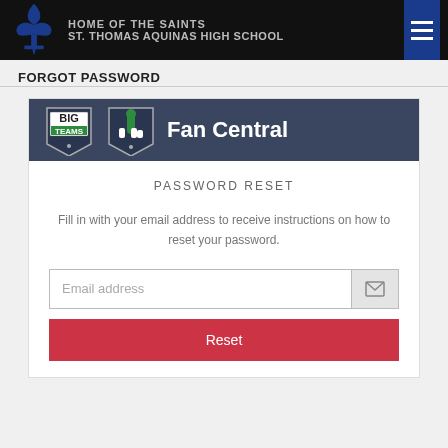[Figure (logo): St. Thomas Aquinas High School header with fleur-de-lis logo, school name, and hamburger menu]
FORGOT PASSWORD
[Figure (logo): BigTeams Fan Central logo panel with BIG TEAMS shield and pointing finger shield]
PASSWORD RESET
Fill in with your email address to receive instructions on how to reset your password.
Email address [input field with email icon]
Reset [button]